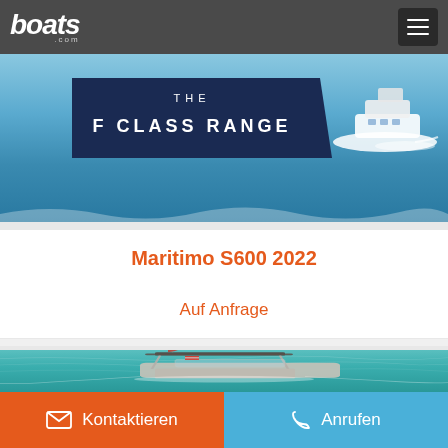boats.com
[Figure (photo): Advertisement banner showing a luxury motor yacht on blue ocean water with dark navy overlay panel reading THE F CLASS RANGE]
Maritimo S600 2022
Auf Anfrage
[Figure (photo): Aerial/angled view of a motorboat with bimini top cruising on clear turquoise-blue water]
Kontaktieren
Anrufen